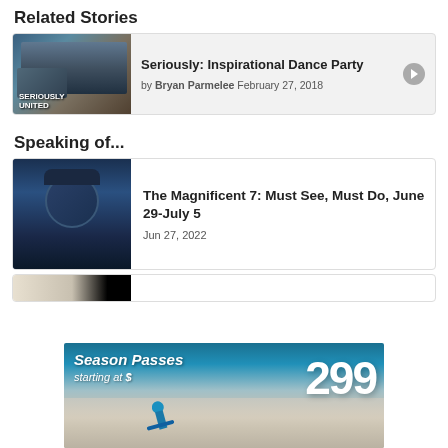Related Stories
[Figure (photo): Person dancing near a Christmas tree, with 'Seriously United' text visible]
Seriously: Inspirational Dance Party
by Bryan Parmelee February 27, 2018
Speaking of...
[Figure (photo): Person in dark clothing and hat against dark blue background]
The Magnificent 7: Must See, Must Do, June 29-July 5
Jun 27, 2022
[Figure (photo): Partial thumbnail of another article]
[Figure (photo): Advertisement banner: Season Passes starting at $299, showing a skier on a snowy slope]